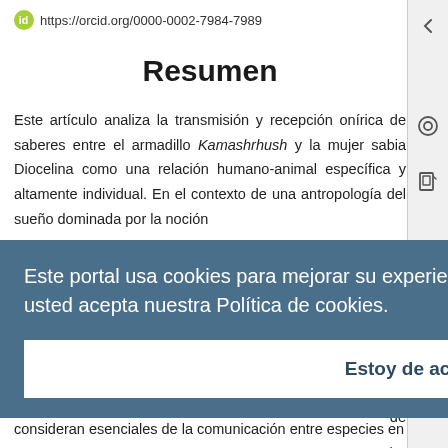https://orcid.org/0000-0002-7984-7989
Resumen
Este artículo analiza la transmisión y recepción onírica de saberes entre el armadillo Kamashrhush y la mujer sabia Diocelina como una relación humano-animal específica y altamente individual. En el contexto de una antropología del sueño dominada por la noción...
Este portal usa cookies para mejorar su experiencia de usuario. Al utilizar nuestro sitio web, usted acepta nuestra Política de cookies.
Estoy de acuerdo
consideran esenciales de la comunicación entre especies en las